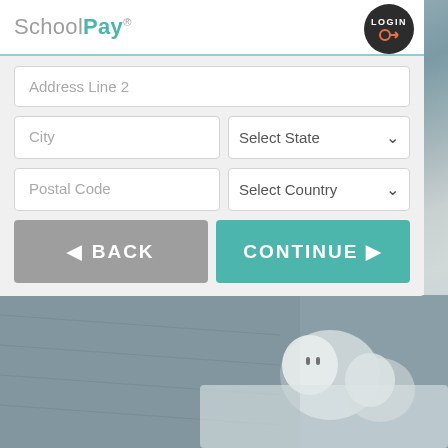[Figure (screenshot): SchoolPay web application screenshot showing a registration/address form with fields for Address Line 2, City, Select State, Postal Code, Select Country, and BACK/CONTINUE navigation buttons. Header shows SchoolPay logo and LOGIN button. Background shows a grayscale photo of earbuds on a surface.]
SchoolPay®
Address Line 2
City
Select State
Postal Code
Select Country
◄ BACK
CONTINUE ►